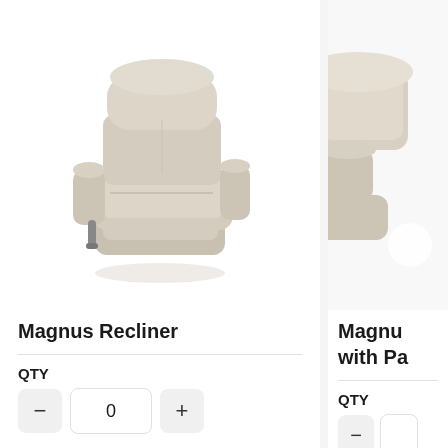[Figure (photo): Beige/cream upholstered Magnus Recliner chair shown in 3/4 view against white background]
Magnus Recliner
QTY
0
Call for Our Best Price
[Figure (photo): Partial view of cream/beige upholstered chair (Magnus with Power), cropped at right edge]
Magnus with Pa
QTY
Call f Best